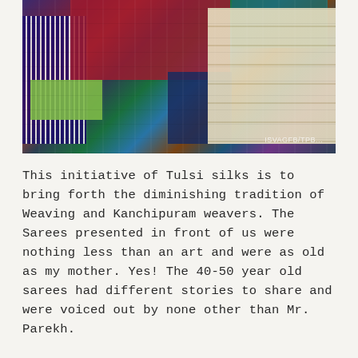[Figure (photo): A display of colorful silk sarees and fabric swatches spread on a table alongside yellow paper documents/booklets, with a silver bell visible in the background.]
This initiative of Tulsi silks is to bring forth the diminishing tradition of Weaving and Kanchipuram weavers. The Sarees presented in front of us were nothing less than an art and were as old as my mother. Yes! The 40-50 year old sarees had different stories to share and were voiced out by none other than Mr. Parekh.